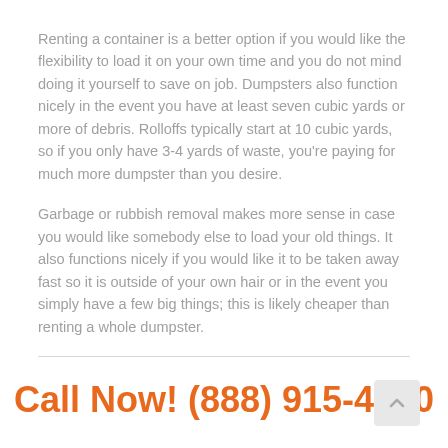Renting a container is a better option if you would like the flexibility to load it on your own time and you do not mind doing it yourself to save on job. Dumpsters also function nicely in the event you have at least seven cubic yards or more of debris. Rolloffs typically start at 10 cubic yards, so if you only have 3-4 yards of waste, you're paying for much more dumpster than you desire.
Garbage or rubbish removal makes more sense in case you would like somebody else to load your old things. It also functions nicely if you would like it to be taken away fast so it is outside of your own hair or in the event you simply have a few big things; this is likely cheaper than renting a whole dumpster.
Call Now! (888) 915-4150